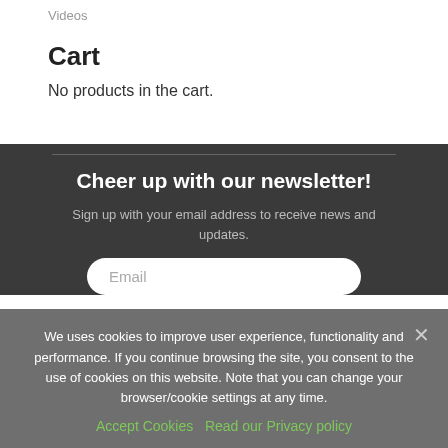Videos
Cart
No products in the cart.
Cheer up with our newsletter!
Sign up with your email address to receive news and updates.
Email
We uses cookies to improve user experience, functionality and performance. If you continue browsing the site, you consent to the use of cookies on this website. Note that you can change your browser/cookie settings at any time.
Accept Cookies   Read our Privacy policy